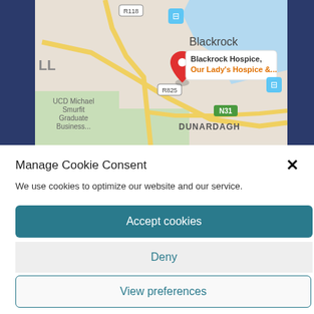[Figure (map): Google Maps screenshot showing Blackrock area in Dublin, Ireland. A red location pin marks 'Blackrock Hospice, Our Lady's Hospice &...' Labels include Blackrock, DUNARDAGH, UCD Michael Smurfit Graduate Business..., road labels R118, R825, N31.]
Manage Cookie Consent
We use cookies to optimize our website and our service.
Accept cookies
Deny
View preferences